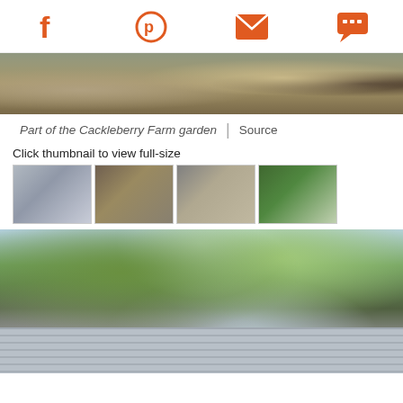Social share icons: Facebook, Pinterest, Email, Comment
[Figure (photo): Top partial image of Cackleberry Farm garden showing soil and a tire]
Part of the Cackleberry Farm garden | Source
Click thumbnail to view full-size
[Figure (photo): Four thumbnail photos of farm scenes]
[Figure (photo): Large photo of a galvanized water tank with trees in the background]